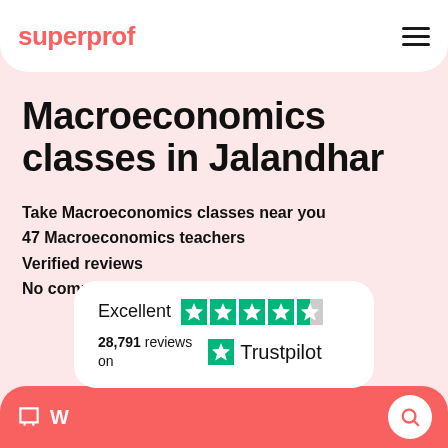superprof
Macroeconomics classes in Jalandhar
Take Macroeconomics classes near you
47 Macroeconomics teachers
Verified reviews
No commission
[Figure (logo): Trustpilot rating card showing Excellent with 4.5 stars, 28,791 reviews on Trustpilot]